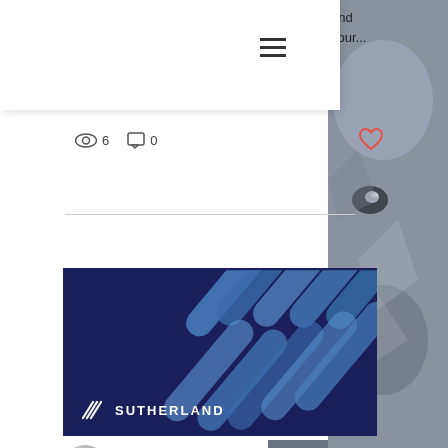and your...
6   0
[Figure (illustration): Sutherland brand banner image with dark blue background and diagonal blue stripe pattern, Sutherland logo at bottom left]
Sutherland Blog  Sep 23, 2019 · 5 min
Why Your Business Can't Modernize Without Digital Transform...